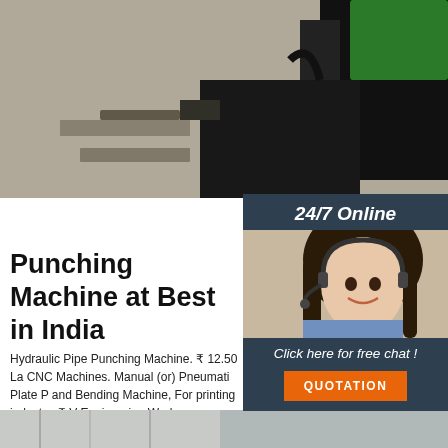[Figure (photo): Industrial punching machine on factory floor, close-up of metal components and a green machine part]
Punching Machine at Best in India
[Figure (infographic): 24/7 Online chat widget with woman wearing headset, orange QUOTATION button]
Hydraulic Pipe Punching Machine. ₹ 12.50 La CNC Machines. Manual (or) Pneumati Plate P and Bending Machine, For printing industry. ₹ V Engineering Works. GREENETCH ENGINE Face Mask V Punch Machine. ₹ 1.10 Lakh. G Engineering.
[Figure (other): Get Price orange button]
[Figure (logo): TOP logo with orange dots above text]
[Figure (photo): Bottom photo strip showing industrial machinery]